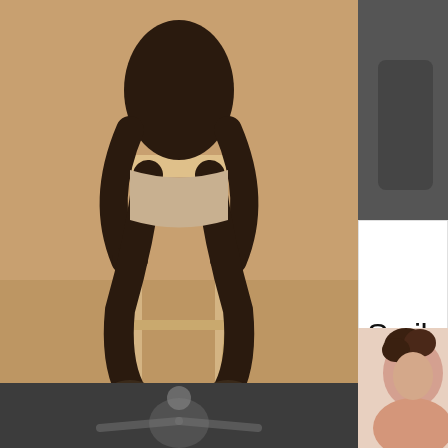[Figure (photo): Person sitting on a wooden stool, photographed from below the torso, warm brown background studio setting]
Neck and shoulder position
Posing tips form modeling school London
Posing: You always like to look your best.
Keep keep in mind, when you stay to the sid...
[Figure (photo): Partial photo in right top column, dark gray toned background]
Smil
[Figure (photo): Partial photo bottom right, person with curly hair, pink/flesh tones]
[Figure (photo): Bottom left strip, dark grayscale photo with figure]